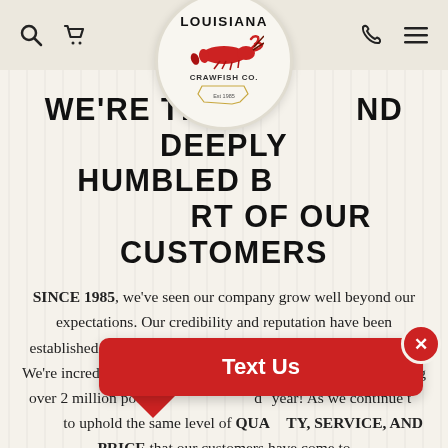Louisiana Crawfish Co. — navigation header with search, cart, phone, and menu icons
[Figure (logo): Louisiana Crawfish Co. circular logo with red crawfish illustration and 'Est 1985' text]
WE'RE THRILLED AND DEEPLY HUMBLED BY THE SUPPORT OF OUR CUSTOMERS
SINCE 1985, we've seen our company grow well beyond our expectations. Our credibility and reputation have been established through hard work and DOING WHAT WE SAY. We're incredibly grateful to have reached a milestone of shipping over 2 million pounds [of crawfish] a year! As we continue to strive to uphold the same level of QUALITY, SERVICE, AND PRICE that our customers have come to